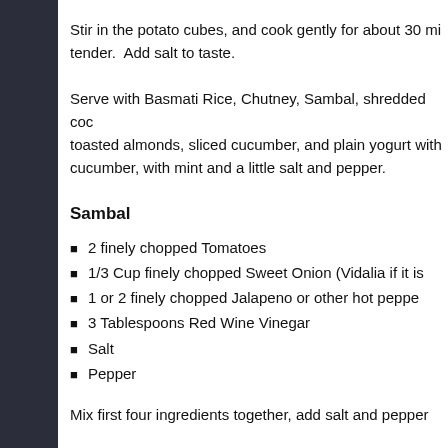Stir in the potato cubes, and cook gently for about 30 mi tender.  Add salt to taste.
Serve with Basmati Rice, Chutney, Sambal, shredded coc toasted almonds, sliced cucumber, and plain yogurt with cucumber, with mint and a little salt and pepper.
Sambal
2 finely chopped Tomatoes
1/3 Cup finely chopped Sweet Onion (Vidalia if it is
1 or 2 finely chopped Jalapeno or other hot peppe
3 Tablespoons Red Wine Vinegar
Salt
Pepper
Mix first four ingredients together, add salt and pepper